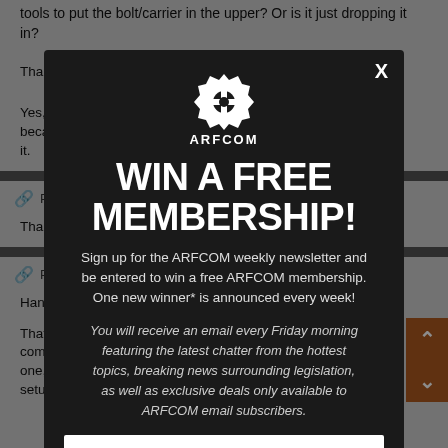tools to put the bolt/carrier in the upper? Or is it just dropping it in?
Than...
Yes, beca... to it.
Than...
Hand...
That comp... one, setup...
[Figure (screenshot): ARFCOM modal popup: WIN A FREE MEMBERSHIP! Sign up for the ARFCOM weekly newsletter and be entered to win a free ARFCOM membership. One new winner* is announced every week! You will receive an email every Friday morning featuring the latest chatter from the hottest topics, breaking news surrounding legislation, as well as exclusive deals only available to ARFCOM email subscribers.]